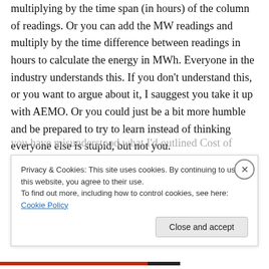multiplying by the time span (in hours) of the column of readings. Or you can add the MW readings and multiply by the time difference between readings in hours to calculate the energy in MWh. Everyone in the industry understands this. If you don't understand this, or you want to argue about it, I sauggest you take it up with AEMO. Or you could just be a bit more humble and be prepared to try to learn instead of thinking everyone else is stupid, but not you.
you have misunderstood what I'd outlined Cost of...
Privacy & Cookies: This site uses cookies. By continuing to use this website, you agree to their use.
To find out more, including how to control cookies, see here: Cookie Policy